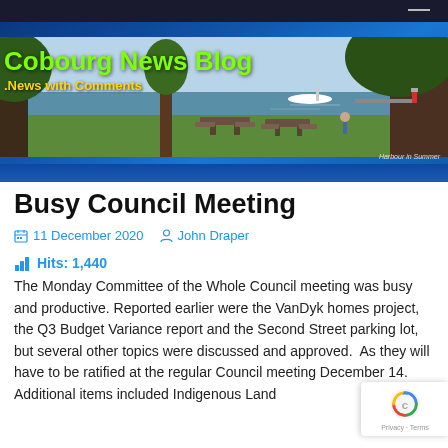[Figure (photo): Cobourg News Blog website header banner showing harbour in summer with trees and picnic tables. Green bold title 'Cobourg News Blog' and yellow subtitle '.News with Comments' overlaid on photo. Dark blue navigation bar background above and below photo.]
Busy Council Meeting
11 December 2020   John Draper
Hits: 1,440
The Monday Committee of the Whole Council meeting was busy and productive. Reported earlier were the VanDyk homes project, the Q3 Budget Variance report and the Second Street parking lot, but several other topics were discussed and approved.  As they will have to be ratified at the regular Council meeting December 14. Additional items included Indigenous Land